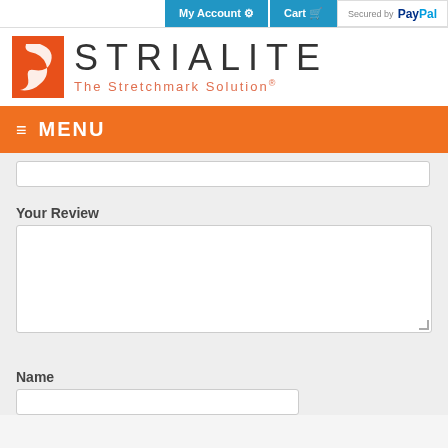My Account | Cart | Secured by PayPal
[Figure (logo): Strialite logo — orange rectangle with stylized white S mark, followed by STRIALITE text in large grey letters and tagline 'The Stretchmark Solution®' in orange below]
≡ MENU
Your Review
Name